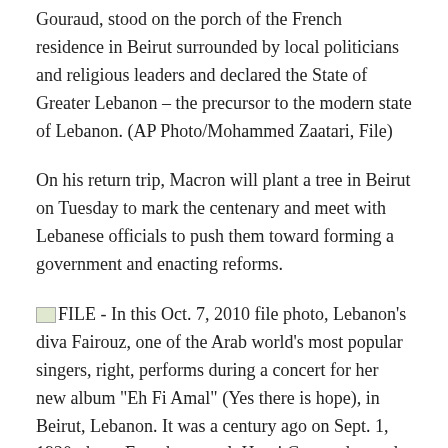Gouraud, stood on the porch of the French residence in Beirut surrounded by local politicians and religious leaders and declared the State of Greater Lebanon – the precursor to the modern state of Lebanon. (AP Photo/Mohammed Zaatari, File)
On his return trip, Macron will plant a tree in Beirut on Tuesday to mark the centenary and meet with Lebanese officials to push them toward forming a government and enacting reforms.
FILE - In this Oct. 7, 2010 file photo, Lebanon's diva Fairouz, one of the Arab world's most popular singers, right, performs during a concert for her new album "Eh Fi Amal" (Yes there is hope), in Beirut, Lebanon. It was a century ago on Sept. 1, 1920, that a French general, Henri Gouraud, stood on the porch of the French residence in Beirut surrounded by local politicians and religious leaders and declared the State of Greater Lebanon - the precursor to the modern state of Lebanon. (AP Photo/Hussein Malla, File)
© Provided by Associated Press FILE – In this Oct. 7, 2010 file